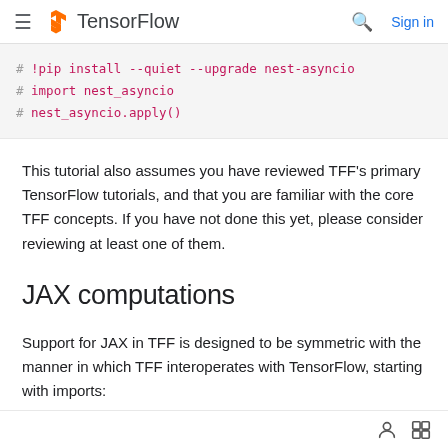TensorFlow  [search] Sign in
# !pip install --quiet --upgrade nest-asyncio
# import nest_asyncio
# nest_asyncio.apply()
This tutorial also assumes you have reviewed TFF's primary TensorFlow tutorials, and that you are familiar with the core TFF concepts. If you have not done this yet, please consider reviewing at least one of them.
JAX computations
Support for JAX in TFF is designed to be symmetric with the manner in which TFF interoperates with TensorFlow, starting with imports: